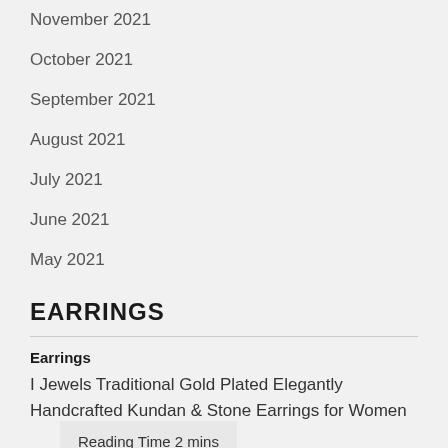November 2021
October 2021
September 2021
August 2021
July 2021
June 2021
May 2021
EARRINGS
Earrings
I Jewels Traditional Gold Plated Elegantly Handcrafted Kundan & Stone Earrings for Women
Reading Time 2 mins
[Figure (photo): I Jewels Traditional Gold Plated Elegantly image placeholder]